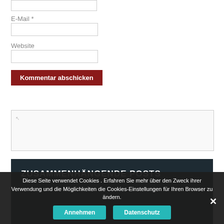E-Mail *
Website
Kommentar abschicken
ZUSAMMENHÄNGENDE POSTS
Diese Seite verwendet Cookies . Erfahren Sie mehr über den Zweck ihrer Verwendung und die Möglichkeiten die Cookies-Einstellungen für Ihren Browser zu ändern.
Annehmen
Datenschutz